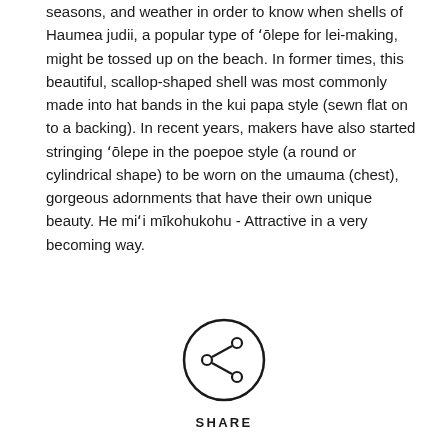seasons, and weather in order to know when shells of Haumea judii, a popular type of ʻōlepe for lei-making, might be tossed up on the beach. In former times, this beautiful, scallop-shaped shell was most commonly made into hat bands in the kui papa style (sewn flat on to a backing). In recent years, makers have also started stringing ʻōlepe in the poepoe style (a round or cylindrical shape) to be worn on the umauma (chest), gorgeous adornments that have their own unique beauty. He miʻi mīkohukohu - Attractive in a very becoming way.
[Figure (other): A circular share button icon with a share/network symbol (three connected dots) inside a circle, with the label SHARE below it.]